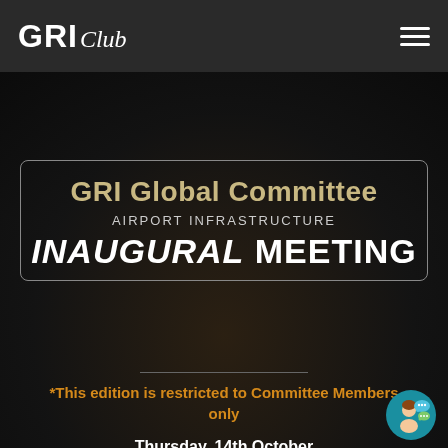GRI Club
GRI Global Committee AIRPORT INFRASTRUCTURE INAUGURAL MEETING
*This edition is restricted to Committee Members only
Thursday, 14th October
Online
15:00 - 16:00 | British Summer Time (GMT+1)
[Figure (illustration): Chat/support avatar icon with speech bubbles, teal circular background]